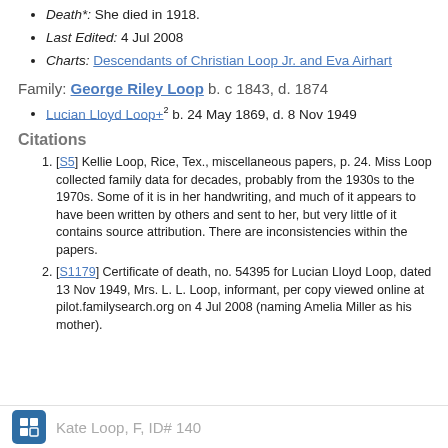Death*: She died in 1918.
Last Edited: 4 Jul 2008
Charts: Descendants of Christian Loop Jr. and Eva Airhart
Family: George Riley Loop b. c 1843, d. 1874
Lucian Lloyd Loop+2 b. 24 May 1869, d. 8 Nov 1949
Citations
[S5] Kellie Loop, Rice, Tex., miscellaneous papers, p. 24. Miss Loop collected family data for decades, probably from the 1930s to the 1970s. Some of it is in her handwriting, and much of it appears to have been written by others and sent to her, but very little of it contains source attribution. There are inconsistencies within the papers.
[S1179] Certificate of death, no. 54395 for Lucian Lloyd Loop, dated 13 Nov 1949, Mrs. L. L. Loop, informant, per copy viewed online at pilot.familysearch.org on 4 Jul 2008 (naming Amelia Miller as his mother).
Kate Loop, F, ID# 140